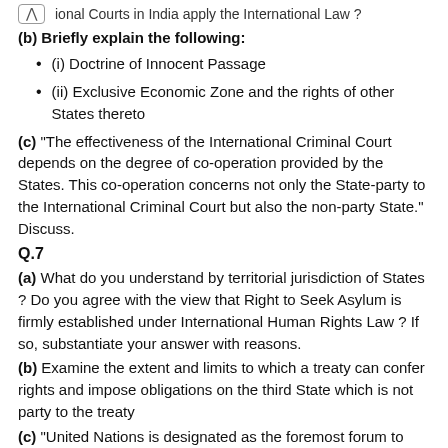ional Courts in India apply the International Law ?
(b) Briefly explain the following:
(i) Doctrine of Innocent Passage
(ii) Exclusive Economic Zone and the rights of other States thereto
(c) “The effectiveness of the International Criminal Court depends on the degree of co-operation provided by the States. This co-operation concerns not only the State-party to the International Criminal Court but also the non-party State.” Discuss.
Q.7
(a) What do you understand by territorial jurisdiction of States ? Do you agree with the view that Right to Seek Asylum is firmly established under International Human Rights Law ? If so, substantiate your answer with reasons.
(b) Examine the extent and limits to which a treaty can confer rights and impose obligations on the third State which is not party to the treaty
(c) “United Nations is designated as the foremost forum to address the issues that transcend the national boundaries, which cannot be resolved by a country alone.” In the light of this statement, discuss